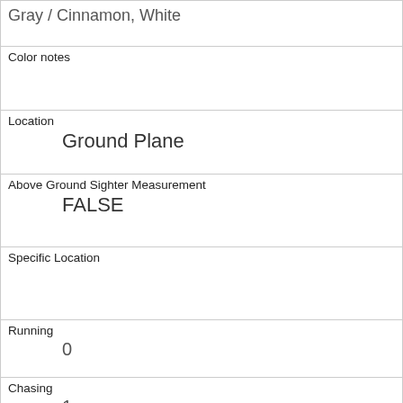| Gray / Cinnamon, White |
| Color notes |  |
| Location | Ground Plane |
| Above Ground Sighter Measurement | FALSE |
| Specific Location |  |
| Running | 0 |
| Chasing | 1 |
| Climbing | 0 |
| Eating | 1 |
| Foraging | 1 |
| Other Activities |  |